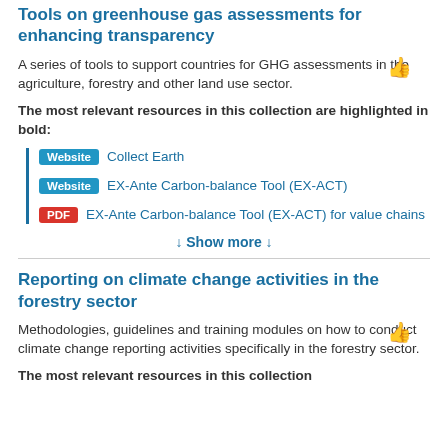Tools on greenhouse gas assessments for enhancing transparency
A series of tools to support countries for GHG assessments in the agriculture, forestry and other land use sector.
The most relevant resources in this collection are highlighted in bold:
Website  Collect Earth
Website  EX-Ante Carbon-balance Tool (EX-ACT)
PDF  EX-Ante Carbon-balance Tool (EX-ACT) for value chains
↓ Show more ↓
Reporting on climate change activities in the forestry sector
Methodologies, guidelines and training modules on how to conduct climate change reporting activities specifically in the forestry sector.
The most relevant resources in this collection